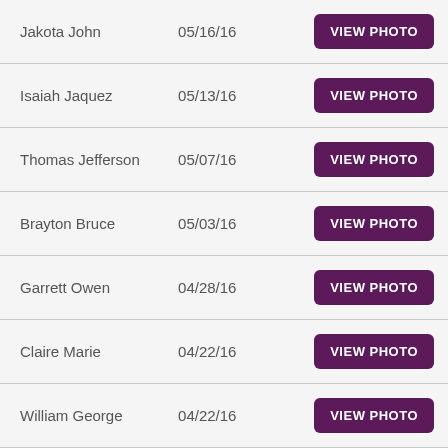| Name | Date | Action |
| --- | --- | --- |
| Jakota John | 05/16/16 | VIEW PHOTO |
| Isaiah Jaquez | 05/13/16 | VIEW PHOTO |
| Thomas Jefferson | 05/07/16 | VIEW PHOTO |
| Brayton Bruce | 05/03/16 | VIEW PHOTO |
| Garrett Owen | 04/28/16 | VIEW PHOTO |
| Claire Marie | 04/22/16 | VIEW PHOTO |
| William George | 04/22/16 | VIEW PHOTO |
| Addison Mary Jean | 04/20/16 | VIEW PHOTO |
| Jatniel Zahir | 04/19/16 | VIEW PHOTO |